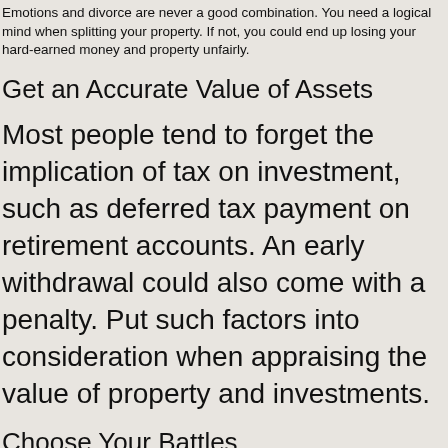Emotions and divorce are never a good combination. You need a logical mind when splitting your property. If not, you could end up losing your hard-earned money and property unfairly.
Get an Accurate Value of Assets
Most people tend to forget the implication of tax on investment, such as deferred tax payment on retirement accounts. An early withdrawal could also come with a penalty. Put such factors into consideration when appraising the value of property and investments.
Choose Your Battles